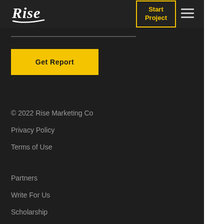[Figure (logo): Rise Marketing Co logo — white cursive 'Rise' text with underline stroke]
Start Project
≡
Get Report
© 2022 Rise Marketing Co
Privacy Policy
Terms of Use
Partners
Write For Us
Scholarship